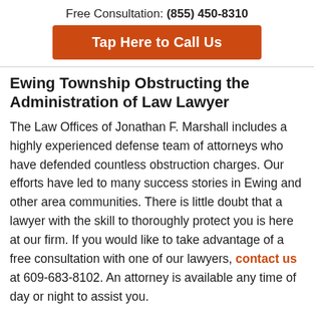Free Consultation: (855) 450-8310
Tap Here to Call Us
Ewing Township Obstructing the Administration of Law Lawyer
The Law Offices of Jonathan F. Marshall includes a highly experienced defense team of attorneys who have defended countless obstruction charges. Our efforts have led to many success stories in Ewing and other area communities. There is little doubt that a lawyer with the skill to thoroughly protect you is here at our firm. If you would like to take advantage of a free consultation with one of our lawyers, contact us at 609-683-8102. An attorney is available any time of day or night to assist you.